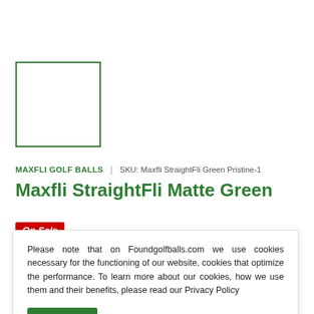[Figure (photo): Product image placeholder — green-bordered empty square representing a golf ball product image]
MAXFLI GOLF BALLS | SKU: Maxfli StraightFli Green Pristine-1
Maxfli StraightFli Matte Green
On Sale
Please note that on Foundgolfballs.com we use cookies necessary for the functioning of our website, cookies that optimize the performance. To learn more about our cookies, how we use them and their benefits, please read our Privacy Policy
Accept
Shipping calculated at checkout